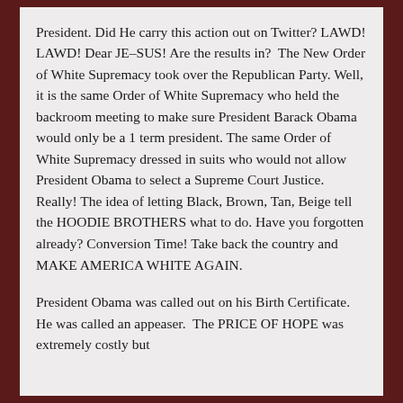President. Did He carry this action out on Twitter? LAWD! LAWD! Dear JE–SUS! Are the results in?  The New Order of White Supremacy took over the Republican Party. Well, it is the same Order of White Supremacy who held the backroom meeting to make sure President Barack Obama would only be a 1 term president. The same Order of White Supremacy dressed in suits who would not allow President Obama to select a Supreme Court Justice. Really! The idea of letting Black, Brown, Tan, Beige tell the HOODIE BROTHERS what to do. Have you forgotten already? Conversion Time! Take back the country and MAKE AMERICA WHITE AGAIN.
President Obama was called out on his Birth Certificate. He was called an appeaser.  The PRICE OF HOPE was extremely costly but